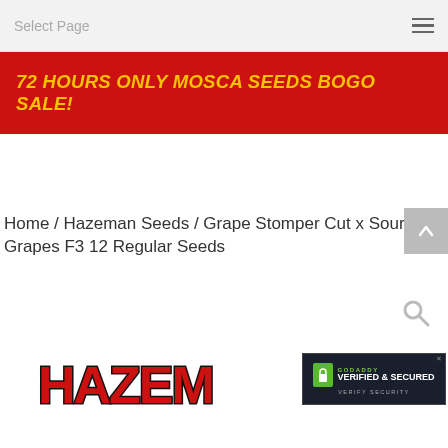Select Page
[Figure (infographic): Red promotional banner with yellow bold italic text reading: 72 HOURS ONLY MOSCA SEEDS BOGO SALE!]
Home / Hazeman Seeds / Grape Stomper Cut x Sour Grapes F3 12 Regular Seeds
[Figure (logo): Hazeman Seeds logo at the bottom of the page, partially visible, with red and black text on white background. GoDaddy Verified & Secured badge in lower right corner.]